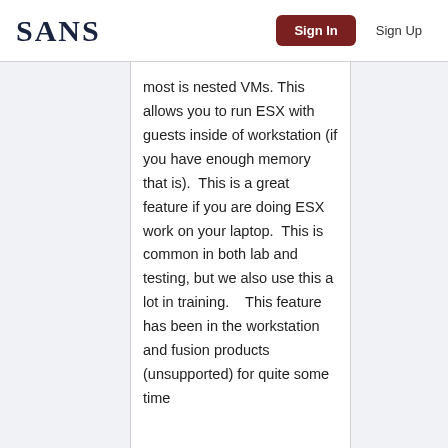SANS | Sign In | Sign Up
most is nested VMs. This allows you to run ESX with guests inside of workstation (if you have enough memory that is). This is a great feature if you are doing ESX work on your laptop. This is common in both lab and testing, but we also use this a lot in training. This feature has been in the workstation and fusion products (unsupported) for quite some time